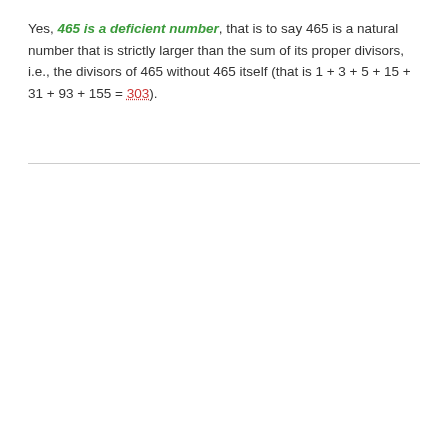Yes, 465 is a deficient number, that is to say 465 is a natural number that is strictly larger than the sum of its proper divisors, i.e., the divisors of 465 without 465 itself (that is 1 + 3 + 5 + 15 + 31 + 93 + 155 = 303).